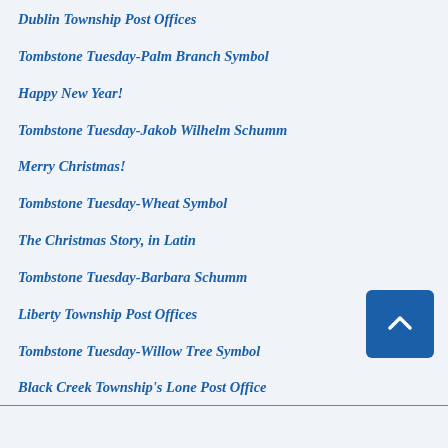Dublin Township Post Offices
Tombstone Tuesday-Palm Branch Symbol
Happy New Year!
Tombstone Tuesday-Jakob Wilhelm Schumm
Merry Christmas!
Tombstone Tuesday-Wheat Symbol
The Christmas Story, in Latin
Tombstone Tuesday-Barbara Schumm
Liberty Township Post Offices
Tombstone Tuesday-Willow Tree Symbol
Black Creek Township's Lone Post Office